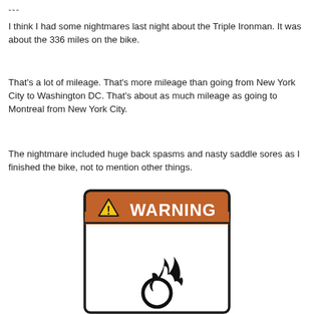---
I think I had some nightmares last night about the Triple Ironman. It was about the 336 miles on the bike.
That's a lot of mileage. That's more mileage than going from New York City to Washington DC. That's about as much mileage as going to Montreal from New York City.
The nightmare included huge back spasms and nasty saddle sores as I finished the bike, not to mention other things.
[Figure (illustration): A warning sign graphic with an orange header bar showing a triangle warning symbol and the text 'WARNING', and below it a white panel containing a flame/flammable hazard symbol (flame over a circle).]